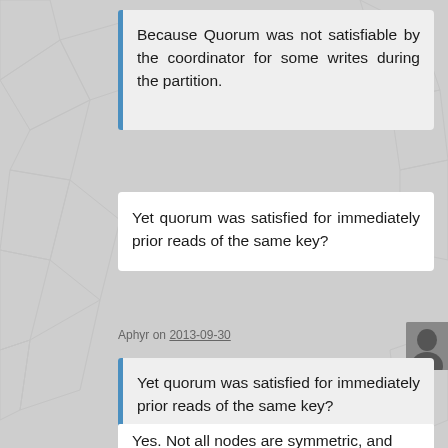Because Quorum was not satisfiable by the coordinator for some writes during the partition.
Yet quorum was satisfied for immediately prior reads of the same key?
Aphyr on 2013-09-30
Yet quorum was satisfied for immediately prior reads of the same key?
Yes. Not all nodes are symmetric, and